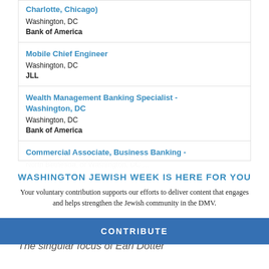Charlotte, Chicago)
Washington, DC
Bank of America
Mobile Chief Engineer
Washington, DC
JLL
Wealth Management Banking Specialist - Washington, DC
Washington, DC
Bank of America
Commercial Associate, Business Banking - North Bethesda, or Washington, DC...
WASHINGTON JEWISH WEEK IS HERE FOR YOU
Your voluntary contribution supports our efforts to deliver content that engages and helps strengthen the Jewish community in the DMV.
CONTRIBUTE
The singular focus of Earl Dotter